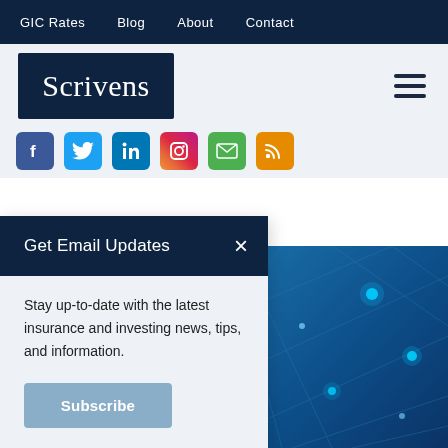GIC Rates  Blog  About  Contact
[Figure (logo): Scrivens company logo — white serif text on dark navy background]
[Figure (infographic): Social media icon row: Facebook (blue), Twitter (light blue), LinkedIn (blue), Instagram (gradient), Email (green), RSS (orange)]
Get Email Updates
Stay up-to-date with the latest insurance and investing news, tips, and information.
[Figure (illustration): Blue technology network background image with glowing nodes and connecting lines]